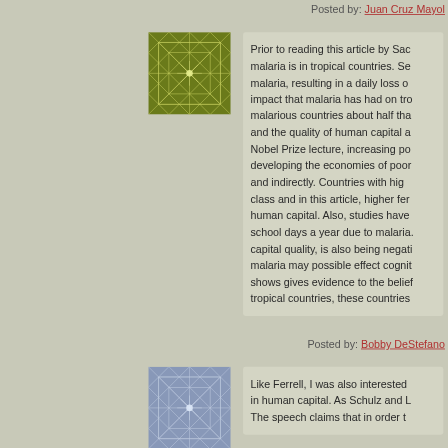Posted by: Juan Cruz Mayol
[Figure (illustration): Green geometric star/snowflake pattern avatar icon]
Prior to reading this article by Sac... malaria is in tropical countries. Se... malaria, resulting in a daily loss o... impact that malaria has had on tro... malarious countries about half tha... and the quality of human capital a... Nobel Prize lecture, increasing po... developing the economies of poor... and indirectly. Countries with hig... class and in this article, higher fer... human capital. Also, studies have ... school days a year due to malaria. ... capital quality, is also being negati... malaria may possible effect cognit... shows gives evidence to the belief ... tropical countries, these countries ...
Posted by: Bobby DeStefano
[Figure (illustration): Blue/gray geometric snowflake pattern avatar icon]
Like Ferrell, I was also interested ... in human capital. As Schulz and L... The speech claims that in order t...